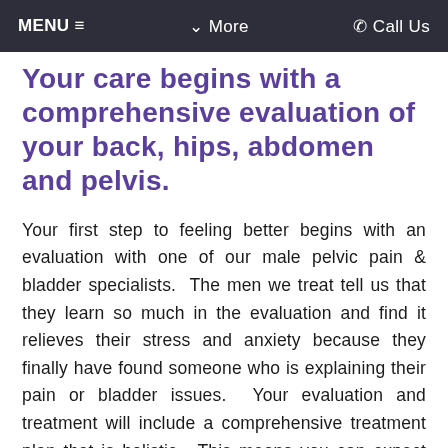MENU ≡   ∨ More   ☎ Call Us
Your care begins with a comprehensive evaluation of your back, hips, abdomen and pelvis.
Your first step to feeling better begins with an evaluation with one of our male pelvic pain & bladder specialists.  The men we treat tell us that they learn so much in the evaluation and find it relieves their stress and anxiety because they finally have found someone who is explaining their pain or bladder issues.  Your evaluation and treatment will include a comprehensive treatment plan that is holistic.  This means you can expect treatment to your